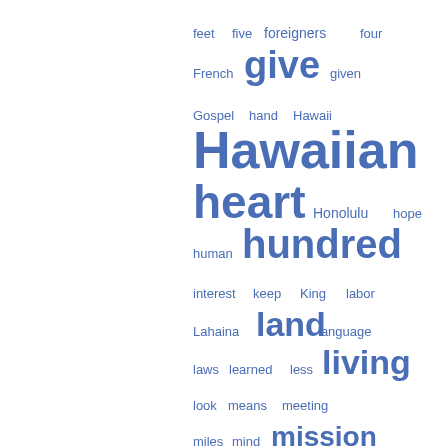[Figure (other): Word cloud with Hawaiian/missionary-related terms in varying sizes in blue color. Larger words include 'missionaries', 'Hawaiian', 'native', 'living', 'hundred', 'heart', 'mission', 'nature', 'present', 'give', 'Pacific', 'land'. Smaller words include feet, five, foreigners, four, French, given, Gospel, hand, Hawaii, Honolulu, hope, human, interest, keep, King, labor, Lahaina, language, laws, learned, less, look, means, meeting, miles, mind, Molokai, moral, mountain, never, observed, ocean, once, pastor, perhaps, persons, port.]